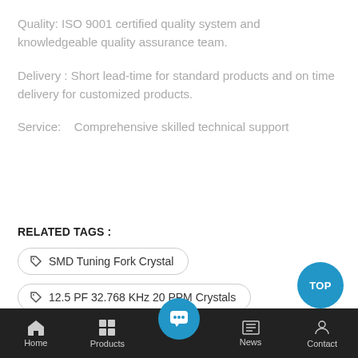Quality: ISO 9001 certified quality system and knowledgeable quality assurance team.
Delivery : Short lead-time for standard products and on time delivery for customized products.
Service:   Comprehensive skilled technical support
RELATED TAGS :
SMD Tuning Fork Crystal
12.5 PF 32.768 KHz 20 PPM Crystals
Home | Products | (chat) | News | Contact